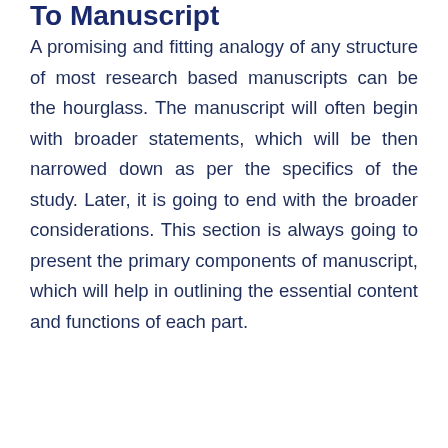To Manuscript
A promising and fitting analogy of any structure of most research based manuscripts can be the hourglass. The manuscript will often begin with broader statements, which will be then narrowed down as per the specifics of the study. Later, it is going to end with the broader considerations. This section is always going to present the primary components of manuscript, which will help in outlining the essential content and functions of each part.